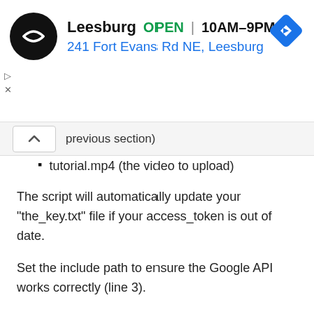[Figure (other): Google Maps business listing ad banner showing Leesburg location: logo circle with double arrow icon, business name 'Leesburg', status 'OPEN', hours '10AM-9PM', address '241 Fort Evans Rd NE, Leesburg', navigation diamond icon, and ad control icons (play and close)]
previous section)
tutorial.mp4 (the video to upload)
The script will automatically update your “the_key.txt” file if your access_token is out of date.
Set the include path to ensure the Google API works correctly (line 3).
Replace the following variables with your own